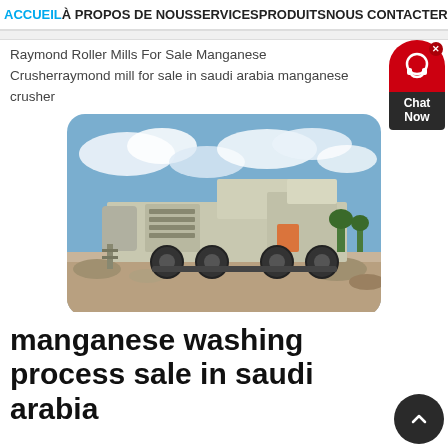ACCUEIL À PROPOS DE NOUS SERVICES PRODUITS NOUS CONTACTER
Raymond Roller Mills For Sale Manganese Crusherraymond mill for sale in saudi arabia manganese crusher
[Figure (photo): A large mobile crusher/screener machine on a flatbed trailer, parked on a rocky jobsite with blue sky and clouds in the background.]
manganese washing process sale in saudi arabia